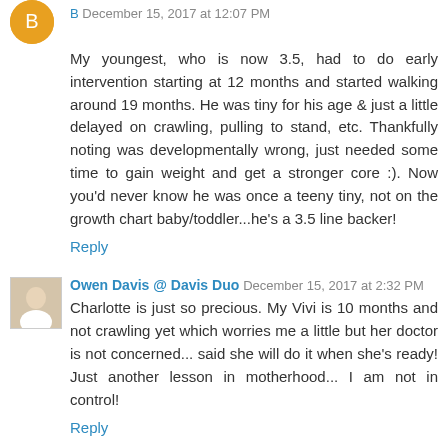December 15, 2017 at 12:07 PM
My youngest, who is now 3.5, had to do early intervention starting at 12 months and started walking around 19 months. He was tiny for his age & just a little delayed on crawling, pulling to stand, etc. Thankfully noting was developmentally wrong, just needed some time to gain weight and get a stronger core :). Now you'd never know he was once a teeny tiny, not on the growth chart baby/toddler...he's a 3.5 line backer!
Reply
Owen Davis @ Davis Duo December 15, 2017 at 2:32 PM
Charlotte is just so precious. My Vivi is 10 months and not crawling yet which worries me a little but her doctor is not concerned... said she will do it when she's ready! Just another lesson in motherhood... I am not in control!
Reply
Katie December 16, 2017 at 7:44 AM